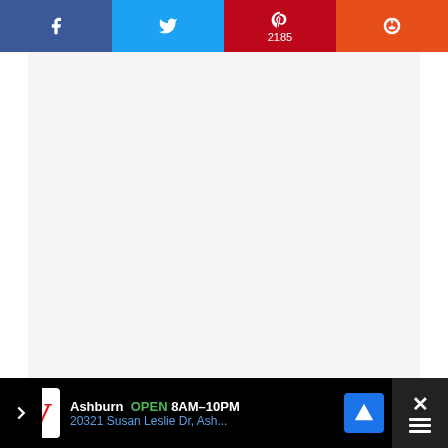[Figure (screenshot): Social sharing bar with Facebook, Twitter, Pinterest (2185 shares), and Reddit buttons]
[Figure (photo): White/light gray image placeholder area for a recipe photo]
Ingredients
Tri-tip about 2-3 pounds in weight
[Figure (screenshot): Advertisement bar: Walgreens Ashburn OPEN 8AM-10PM, 20321 Susan Leslie Dr, Ash...]